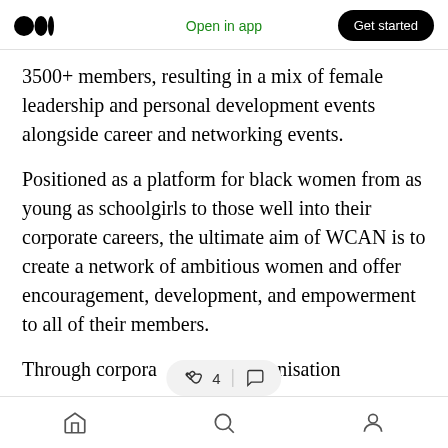Open in app | Get started
3500+ members, resulting in a mix of female leadership and personal development events alongside career and networking events.
Positioned as a platform for black women from as young as schoolgirls to those well into their corporate careers, the ultimate aim of WCAN is to create a network of ambitious women and offer encouragement, development, and empowerment to all of their members.
Through corpora [clap icon] 4 [comment icon] e organisation
[home] [search] [profile]